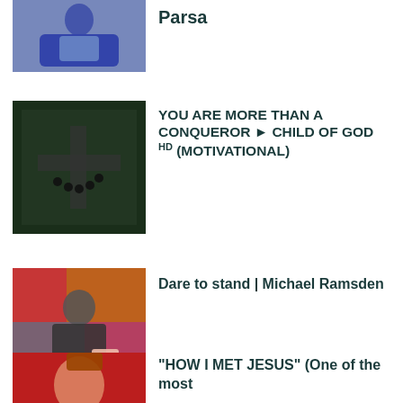[Figure (photo): Person in blue jacket sitting with a tablet/laptop]
Parsa
[Figure (photo): Dark image with a cross symbol scratched into a surface with beads/chain]
YOU ARE MORE THAN A CONQUEROR ► CHILD OF GOD HD (MOTIVATIONAL)
[Figure (photo): Man in dark suit presenting on stage with colorful background]
Dare to stand | Michael Ramsden
[Figure (photo): Person with red background partially visible]
“HOW I MET JESUS” (One of the most